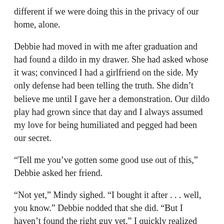different if we were doing this in the privacy of our home, alone.
Debbie had moved in with me after graduation and had found a dildo in my drawer. She had asked whose it was; convinced I had a girlfriend on the side. My only defense had been telling the truth. She didn't believe me until I gave her a demonstration. Our dildo play had grown since that day and I always assumed my love for being humiliated and pegged had been our secret.
“Tell me you’ve gotten some good use out of this,” Debbie asked her friend.
“Not yet,” Mindy sighed. “I bought it after . . . well, you know.” Debbie nodded that she did. “But I haven’t found the right guy yet.” I quickly realized the part Mindy had left out included